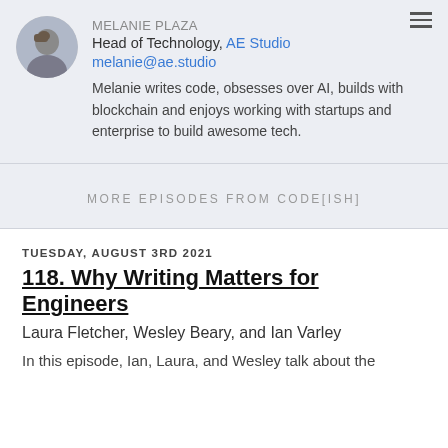MELANIE PLAZA
Head of Technology, AE Studio
melanie@ae.studio
Melanie writes code, obsesses over AI, builds with blockchain and enjoys working with startups and enterprise to build awesome tech.
MORE EPISODES FROM CODE[ISH]
TUESDAY, AUGUST 3RD 2021
118. Why Writing Matters for Engineers
Laura Fletcher, Wesley Beary, and Ian Varley
In this episode, Ian, Laura, and Wesley talk about the